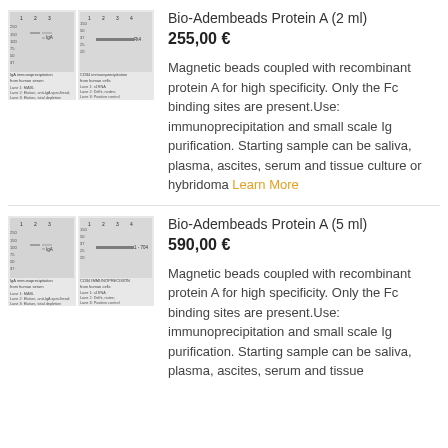[Figure (photo): Western blot images showing IgA immunoprecipitation from human serum and CD34 immunoprecipitation from human cells, Product 1]
Bio-Adembeads Protein A (2 ml)
255,00 €
Magnetic beads coupled with recombinant protein A for high specificity. Only the Fc binding sites are present.Use: immunoprecipitation and small scale Ig purification. Starting sample can be saliva, plasma, ascites, serum and tissue culture or hybridoma Learn More
[Figure (photo): Western blot images showing IgA immunoprecipitation from human serum and CD34 immunoprecipitation from human cells, Product 2]
Bio-Adembeads Protein A (5 ml)
590,00 €
Magnetic beads coupled with recombinant protein A for high specificity. Only the Fc binding sites are present.Use: immunoprecipitation and small scale Ig purification. Starting sample can be saliva, plasma, ascites, serum and tissue